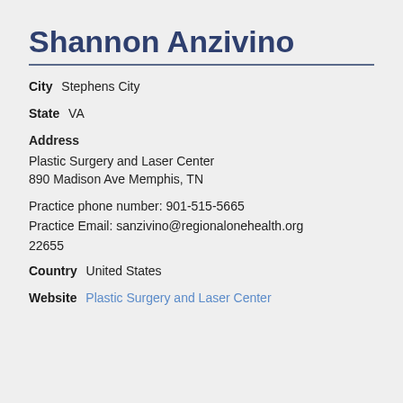Shannon Anzivino
City   Stephens City
State   VA
Address
Plastic Surgery and Laser Center
890 Madison Ave Memphis, TN
Practice phone number: 901-515-5665
Practice Email: sanzivino@regionalone health.org
22655
Country   United States
Website   Plastic Surgery and Laser Center